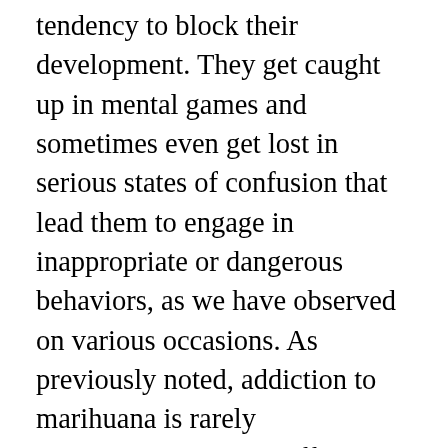tendency to block their development. They get caught up in mental games and sometimes even get lost in serious states of confusion that lead them to engage in inappropriate or dangerous behaviors, as we have observed on various occasions. As previously noted, addiction to marihuana is rarely acknowledged by the affected. In the addict's typical search for justification, the manifold subterfuges individuals may come up with never cease to surprise. Their “enamouredness” is such that a reasonable discourse is often absent, which can result in a state of profound irrationality. However, in the case of a sincere person, it is possible to observe the absence of this